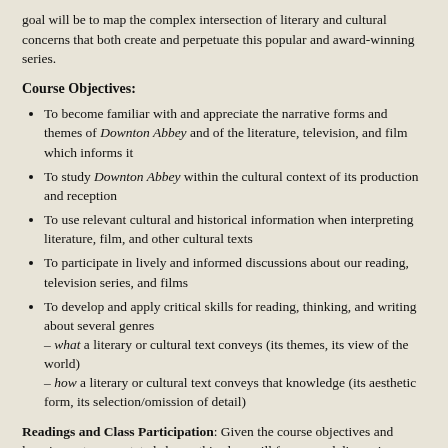goal will be to map the complex intersection of literary and cultural concerns that both create and perpetuate this popular and award-winning series.
Course Objectives:
To become familiar with and appreciate the narrative forms and themes of Downton Abbey and of the literature, television, and film which informs it
To study Downton Abbey within the cultural context of its production and reception
To use relevant cultural and historical information when interpreting literature, film, and other cultural texts
To participate in lively and informed discussions about our reading, television series, and films
To develop and apply critical skills for reading, thinking, and writing about several genres – what a literary or cultural text conveys (its themes, its view of the world) – how a literary or cultural text conveys that knowledge (its aesthetic form, its selection/omission of detail)
Readings and Class Participation: Given the course objectives and learning outcomes stated above, this class will foreground discussion. Class participation is therefore expected and will count